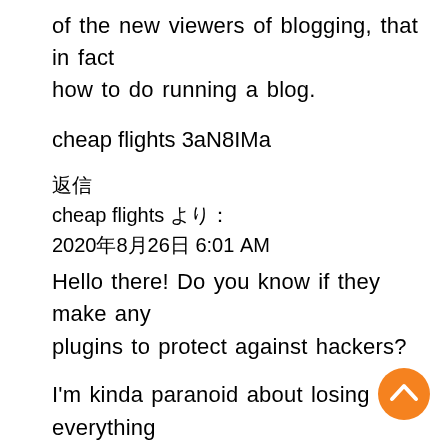of the new viewers of blogging, that in fact how to do running a blog.
cheap flights 3aN8IMa
返信
cheap flights より：
2020年8月26日 6:01 AM
Hello there! Do you know if they make any plugins to protect against hackers?
I'm kinda paranoid about losing everything I've worked hard on. Any tips?
y2yxvvfw cheap flights
返信
cheap flights より：